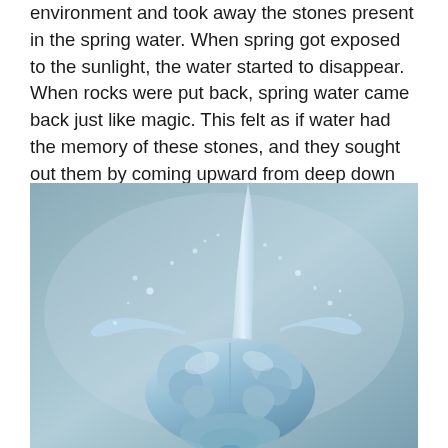environment and took away the stones present in the spring water. When spring got exposed to the sunlight, the water started to disappear. When rocks were put back, spring water came back just like magic. This felt as if water had the memory of these stones, and they sought out them by coming upward from deep down the earth.
[Figure (photo): A water sculpture shaped like a human brain, with a stream of water pouring down from above and water droplets splashing around it, set against a blue-grey gradient background.]